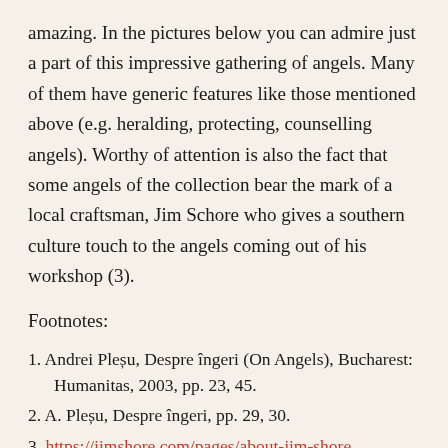amazing. In the pictures below you can admire just a part of this impressive gathering of angels. Many of them have generic features like those mentioned above (e.g. heralding, protecting, counselling angels). Worthy of attention is also the fact that some angels of the collection bear the mark of a local craftsman, Jim Schore who gives a southern culture touch to the angels coming out of his workshop (3).
Footnotes:
1. Andrei Pleșu, Despre îngeri (On Angels), Bucharest: Humanitas, 2003, pp. 23, 45.
2. A. Pleșu, Despre îngeri, pp. 29, 30.
3. https://jimshore.com/pages/about-jim-shore